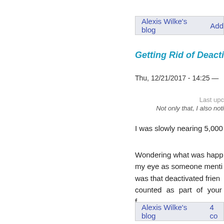Alexis Wilke's blog   Add
Getting Rid of Deacti
Thu, 12/21/2017 - 14:25 —
Last upc
Not only that, I also noti
I was slowly nearing 5,000
Wondering what was happ my eye as someone menti was that deactivated frien counted as part of your f anymore and they don't ge
Alexis Wilke's blog   4 co